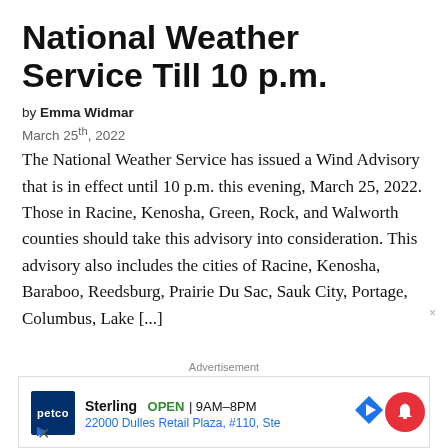National Weather Service Till 10 p.m.
by Emma Widmar
March 25th, 2022
The National Weather Service has issued a Wind Advisory that is in effect until 10 p.m. this evening, March 25, 2022. Those in Racine, Kenosha, Green, Rock, and Walworth counties should take this advisory into consideration. This advisory also includes the cities of Racine, Kenosha, Baraboo, Reedsburg, Prairie Du Sac, Sauk City, Portage, Columbus, Lake [...]
Advertisement
[Figure (other): Petco advertisement for Sterling location: OPEN 9AM-8PM, 22000 Dulles Retail Plaza, #110, Ste]